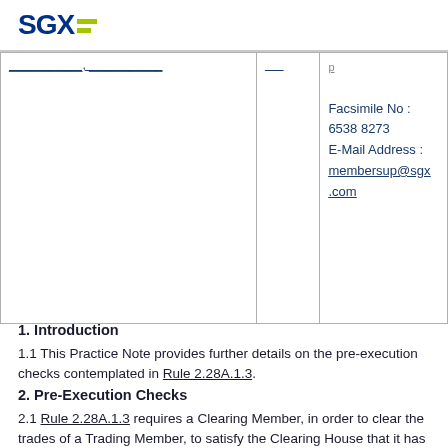SGX
| (partially visible underlined text) | (partially visible) | Facsimile No : 6538 8273
E-Mail Address : membersup@sgx.com |
1. Introduction
1.1 This Practice Note provides further details on the pre-execution checks contemplated in Rule 2.28A.1.3.
2. Pre-Execution Checks
2.1 Rule 2.28A.1.3 requires a Clearing Member, in order to clear the trades of a Trading Member, to satisfy the Clearing House that it has in place automated pre-execution credit